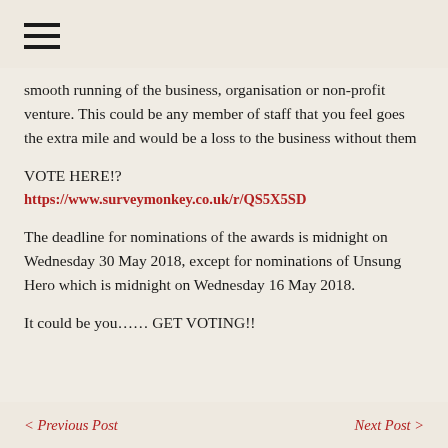≡
smooth running of the business, organisation or non-profit venture. This could be any member of staff that you feel goes the extra mile and would be a loss to the business without them
VOTE HERE!?
https://www.surveymonkey.co.uk/r/QS5X5SD
The deadline for nominations of the awards is midnight on Wednesday 30 May 2018, except for nominations of Unsung Hero which is midnight on Wednesday 16 May 2018.
It could be you…… GET VOTING!!
< Previous Post    Next Post >